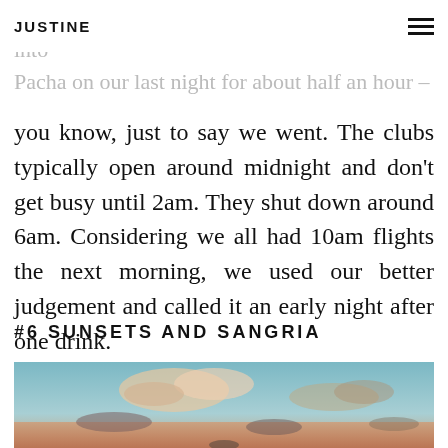JUSTINE
Ibiza, you can make it anywhere. We dipped into Pacha on our last night for about half an hour –
you know, just to say we went. The clubs typically open around midnight and don't get busy until 2am. They shut down around 6am. Considering we all had 10am flights the next morning, we used our better judgement and called it an early night after one drink.
#6 SUNSETS AND SANGRIA
[Figure (photo): Sunset sky with clouds in warm orange and pink tones over a light teal sky, taken in Ibiza]